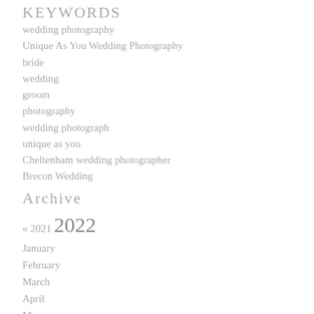KEYWORDS
wedding photography
Unique As You Wedding Photography
bride
wedding
groom
photography
wedding photograph
unique as you
Cheltenham wedding photographer
Brecon Wedding
Archive
« 2021  2022
January
February
March
April
May